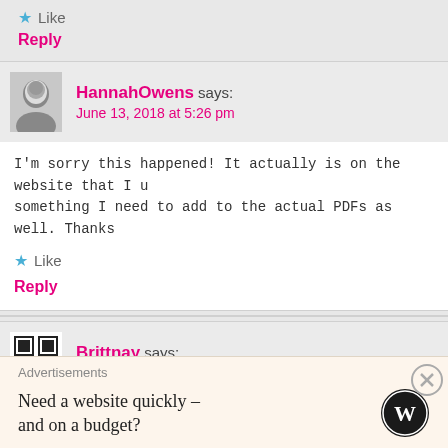★ Like
Reply
HannahOwens says: June 13, 2018 at 5:26 pm
I'm sorry this happened! It actually is on the website that I u... something I need to add to the actual PDFs as well. Thanks
★ Like
Reply
Brittnay says: February 17, 2018 at 8:21 pm
Advertisements
Need a website quickly – and on a budget?